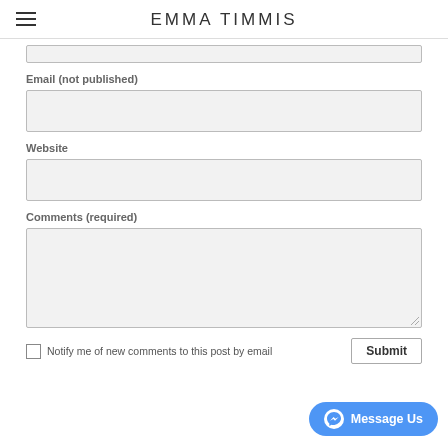EMMA TIMMIS
Email (not published)
Website
Comments (required)
Notify me of new comments to this post by email
Submit
[Figure (other): Facebook Messenger 'Message Us' floating button in blue at bottom right]